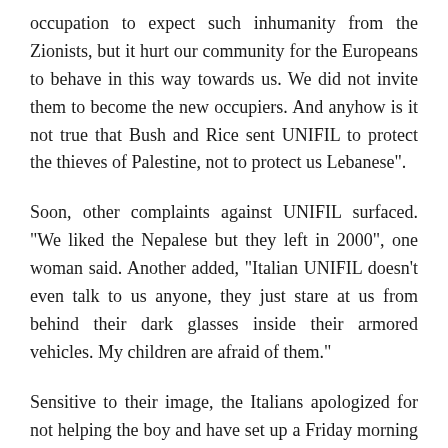occupation to expect such inhumanity from the Zionists, but it hurt our community for the Europeans to behave in this way towards us. We did not invite them to become the new occupiers. And anyhow is it not true that Bush and Rice sent UNIFIL to protect the thieves of Palestine, not to protect us Lebanese".
Soon, other complaints against UNIFIL surfaced. "We liked the Nepalese but they left in 2000", one woman said. Another added, "Italian UNIFIL doesn't even talk to us anyone, they just stare at us from behind their dark glasses inside their armored vehicles. My children are afraid of them."
Sensitive to their image, the Italians apologized for not helping the boy and have set up a Friday morning free clinic for Sibqin, and as has been their annual custom, are currently busy arranging for Santa Claus to deliver Christmas gifts to the precious, and war-traumatized